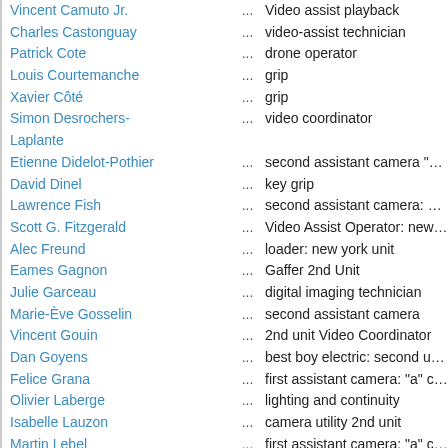Vincent Camuto Jr. ... Video assist playback
Charles Castonguay ... video-assist technician
Patrick Cote ... drone operator
Louis Courtemanche ... grip
Xavier Côté ... grip
Simon Desrochers-Laplante ... video coordinator
Etienne Didelot-Pothier ... second assistant camera "A" camera s
David Dinel ... key grip
Lawrence Fish ... second assistant camera: additional ph
Scott G. Fitzgerald ... Video Assist Operator: new york unit
Alec Freund ... loader: new york unit
Eames Gagnon ... Gaffer 2nd Unit
Julie Garceau ... digital imaging technician
Marie-Ève Gosselin ... second assistant camera
Vincent Gouin ... 2nd unit Video Coordinator
Dan Goyens ... best boy electric: second unit / rigging g
Felice Grana ... first assistant camera: "a" camera
Olivier Laberge ... lighting and continuity
Isabelle Lauzon ... camera utility 2nd unit
Martin Lebel ... first assistant camera: "a" cam/second
Kenneth MacKenzie ... key grip: second unit
Brad MacLean ... a dolly grip 2nd unit
Charles Marcotte ... lighting technician